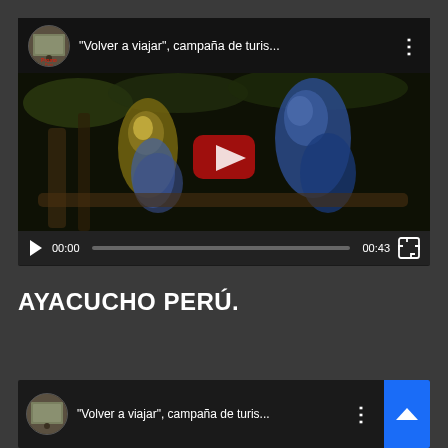[Figure (screenshot): YouTube video player showing a paused video titled '"Volver a viajar", campaña de turis...' with two parrots visible in the thumbnail, a red play button overlay, and controls showing 00:00 / 00:43]
AYACUCHO PERÚ.
[Figure (screenshot): YouTube video thumbnail bar showing the same video '"Volver a viajar", campaña de turis...' with a blue scroll-to-top button on the right]